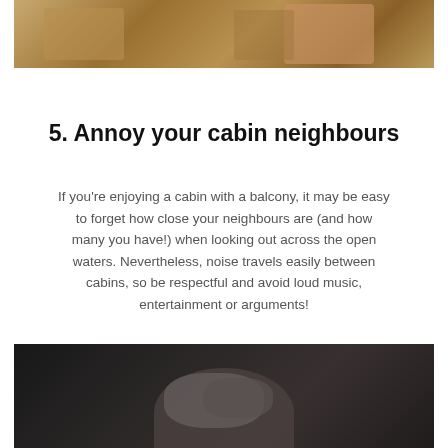[Figure (photo): Top partial photo showing food on a table with a hand visible]
5. Annoy your cabin neighbours
If you're enjoying a cabin with a balcony, it may be easy to forget how close your neighbours are (and how many you have!) when looking out across the open waters. Nevertheless, noise travels easily between cabins, so be respectful and avoid loud music, entertainment or arguments!
[Figure (photo): Person lying in bed covering face with a pillow in a dark room]